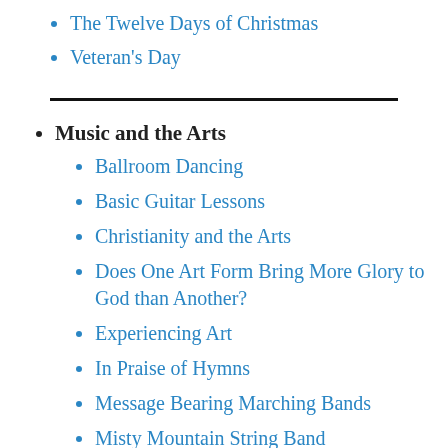The Twelve Days of Christmas
Veteran's Day
Music and the Arts
Ballroom Dancing
Basic Guitar Lessons
Christianity and the Arts
Does One Art Form Bring More Glory to God than Another?
Experiencing Art
In Praise of Hymns
Message Bearing Marching Bands
Misty Mountain String Band
Music and Emotion